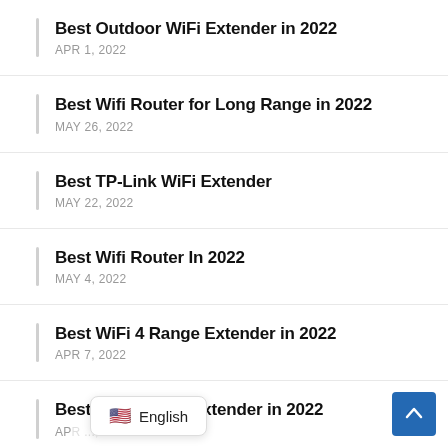Best Outdoor WiFi Extender in 2022
APR 1, 2022
Best Wifi Router for Long Range in 2022
MAY 26, 2022
Best TP-Link WiFi Extender
MAY 22, 2022
Best Wifi Router In 2022
MAY 4, 2022
Best WiFi 4 Range Extender in 2022
APR 7, 2022
Best D-Link WiFi Extender in 2022
APR ...